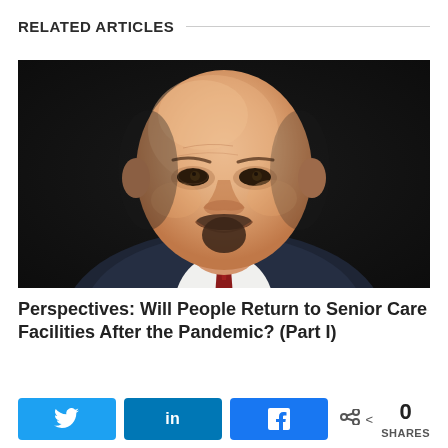RELATED ARTICLES
[Figure (photo): Headshot of a bald, smiling middle-aged man with a goatee, wearing a dark pinstripe suit and red tie, photographed against a dark background.]
Perspectives: Will People Return to Senior Care Facilities After the Pandemic? (Part I)
< 0 SHARES (social share bar with Twitter, LinkedIn, Facebook buttons)